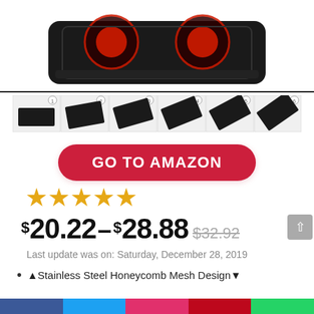[Figure (photo): Laptop cooling pad with red LED fans, black mesh design, shown from above at an angle]
[Figure (photo): Six thumbnail images showing different angle positions/height adjustments of the laptop cooling pad, numbered 1 through 6]
GO TO AMAZON
[Figure (other): 4.5 star rating shown with orange/gold stars]
$20.22–$28.88$32.92
Last update was on: Saturday, December 28, 2019
🔶Stainless Steel Honeycomb Mesh Design🔷